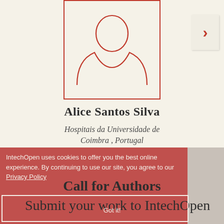[Figure (illustration): Generic person/avatar outline in red on beige background, inside a red-outlined rectangle]
Alice Santos Silva
Hospitais da Universidade de Coimbra , Portugal
IntechOpen uses cookies to offer you the best online experience. By continuing to use our site, you agree to our Privacy Policy
Call for Authors
Got it!
Submit your work to IntechOpen